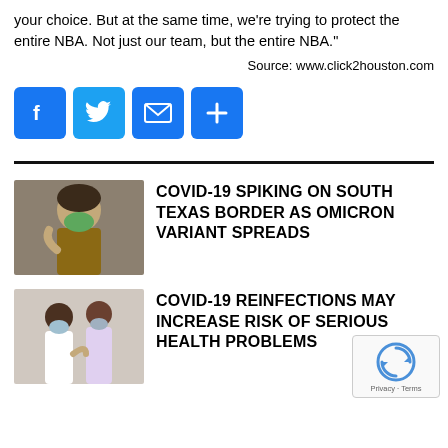your choice. But at the same time, we're trying to protect the entire NBA. Not just our team, but the entire NBA."
Source: www.click2houston.com
[Figure (infographic): Social media share buttons: Facebook (blue), Twitter (blue), Email (blue), More/Plus (blue)]
COVID-19 SPIKING ON SOUTH TEXAS BORDER AS OMICRON VARIANT SPREADS
COVID-19 REINFECTIONS MAY INCREASE RISK OF SERIOUS HEALTH PROBLEMS